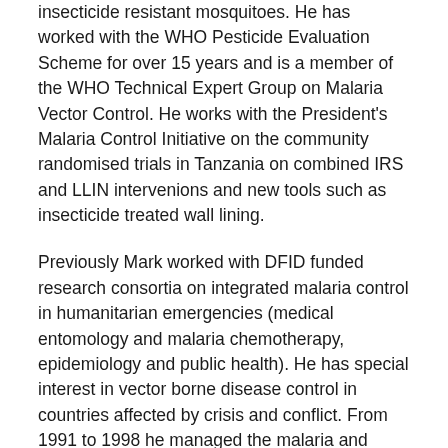insecticide resistant mosquitoes. He has worked with the WHO Pesticide Evaluation Scheme for over 15 years and is a member of the WHO Technical Expert Group on Malaria Vector Control. He works with the President's Malaria Control Initiative on the community randomised trials in Tanzania on combined IRS and LLIN intervenions and new tools such as insecticide treated wall lining.
Previously Mark worked with DFID funded research consortia on integrated malaria control in humanitarian emergencies (medical entomology and malaria chemotherapy, epidemiology and public health). He has special interest in vector borne disease control in countries affected by crisis and conflict. From 1991 to 1998 he managed the malaria and leishmaniasis control programme of HealthNet-TPO, Medecins sans Frontières and UNHCR for Afghanistan and the Afghan refugee populations living in Pakistan. Since returning to